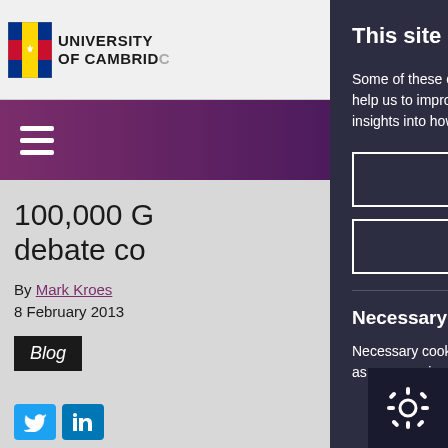[Figure (logo): University of Cambridge shield logo with text UNIVERSITY OF CAMBRIDGE]
[Figure (screenshot): Purple navigation bar with hamburger menu icon]
100,000 G debate co
By Mark Kroes
8 February 2013
Blog
This site uses cookies to store information on your computer.
Some of these cookies are essential, wh help us to improve your experience by p insights into how the site is being used.
I Accept Cookies
I Do Not Accept Cookies
Necessary Cookies
Necessary cookies enable core f as page navigation and acces